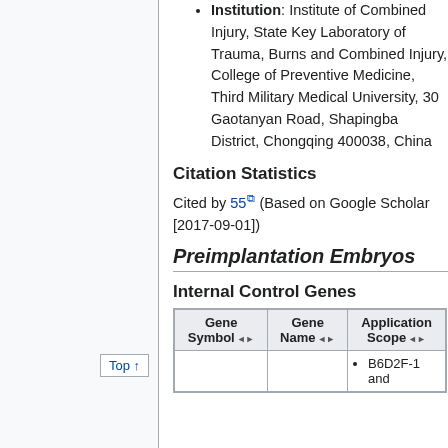Institution: Institute of Combined Injury, State Key Laboratory of Trauma, Burns and Combined Injury, College of Preventive Medicine, Third Military Medical University, 30 Gaotanyan Road, Shapingba District, Chongqing 400038, China
Citation Statistics
Cited by 55 (Based on Google Scholar [2017-09-01])
Preimplantation Embryos
Internal Control Genes
| Gene Symbol | Gene Name | Application Scope |
| --- | --- | --- |
|  |  | • B6D2F-1 and |